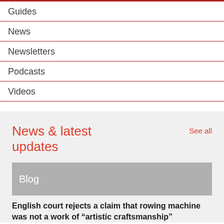Guides
News
Newsletters
Podcasts
Videos
News & latest updates
See all
Blog
English court rejects a claim that rowing machine was not a work of “artistic craftsmanship”